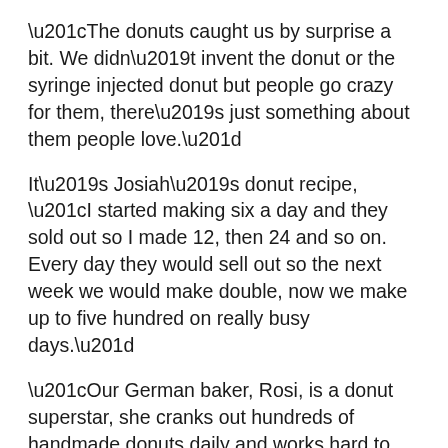“The donuts caught us by surprise a bit. We didn’t invent the donut or the syringe injected donut but people go crazy for them, there’s just something about them people love.”
It’s Josiah’s donut recipe, “I started making six a day and they sold out so I made 12, then 24 and so on. Every day they would sell out so the next week we would make double, now we make up to five hundred on really busy days.”
“Our German baker, Rosi, is a donut superstar, she cranks out hundreds of handmade donuts daily and works hard to ensure consistently incredible donuts every day”
“We have such great staff and for that we are so thankful” says Rachel, “to make this whole operation run smoothly every cog has to work well together, we are now a 24 hour operation and have a really cohesive